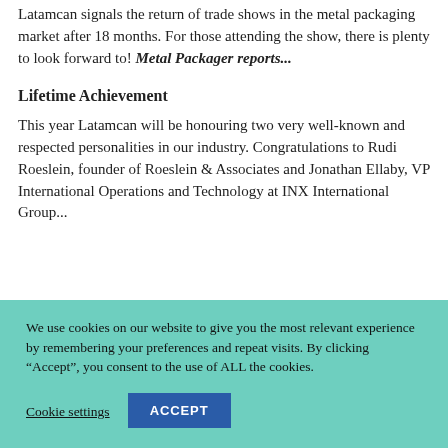Latamcan signals the return of trade shows in the metal packaging market after 18 months. For those attending the show, there is plenty to look forward to! Metal Packager reports...
Lifetime Achievement
This year Latamcan will be honouring two very well-known and respected personalities in our industry. Congratulations to Rudi Roeslein, founder of Roeslein & Associates and Jonathan Ellaby, VP International Operations and Technology at INX International Group...
We use cookies on our website to give you the most relevant experience by remembering your preferences and repeat visits. By clicking "Accept", you consent to the use of ALL the cookies.